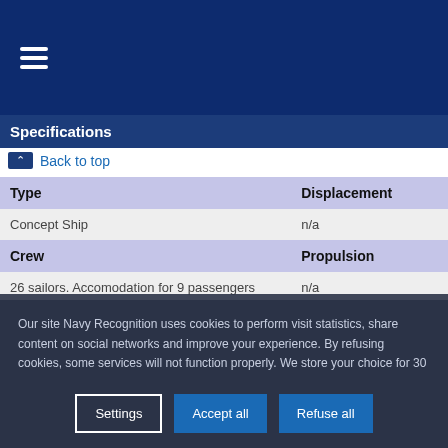☰ (menu icon)
Specifications
↑ Back to top
| Type | Displacement | Crew | Propulsion | Operators | Aircraft |
| --- | --- | --- | --- | --- | --- |
| Concept Ship | n/a |
| 26 sailors. Accomodation for 9 passengers | n/a |
Our site Navy Recognition uses cookies to perform visit statistics, share content on social networks and improve your experience. By refusing cookies, some services will not function properly. We store your choice for 30 days. You can change your mind by clicking on the 'Cookies' button at the bottom left of every page of our site. Learn more
Settings | Accept all | Refuse all